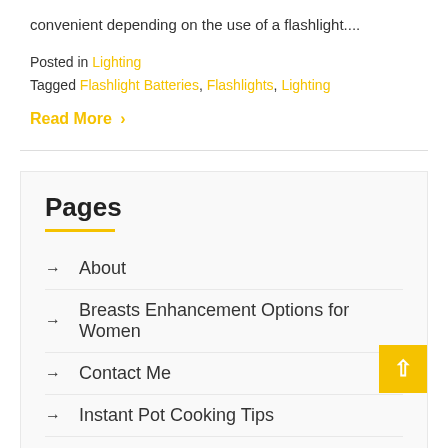convenient depending on the use of a flashlight....
Posted in Lighting
Tagged Flashlight Batteries, Flashlights, Lighting
Read More >
Pages
About
Breasts Enhancement Options for Women
Contact Me
Instant Pot Cooking Tips